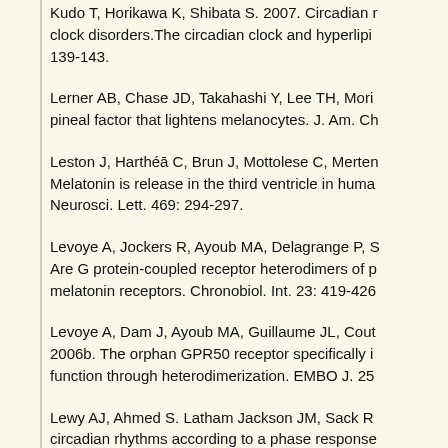Kudo T, Horikawa K, Shibata S. 2007. Circadian clock disorders. The circadian clock and hyperlipidemia. 139-143.
Lerner AB, Chase JD, Takahashi Y, Lee TH, Mori... pineal factor that lightens melanocytes. J. Am. Ch...
Leston J, Harthé C, Brun J, Mottolese C, Merten... Melatonin is release in the third ventricle in huma... Neurosci. Lett. 469: 294-297.
Levoye A, Jockers R, Ayoub MA, Delagrange P, S... Are G protein-coupled receptor heterodimers of p... melatonin receptors. Chronobiol. Int. 23: 419-426...
Levoye A, Dam J, Ayoub MA, Guillaume JL, Cout... 2006b. The orphan GPR50 receptor specifically i... function through heterodimerization. EMBO J. 25...
Lewy AJ, Ahmed S. Latham Jackson JM, Sack R... circadian rhythms according to a phase response...
Lincoln GA, Andersson H, Hazlerigg D. 2003. Clo... regulation of prolactin secretion: evidence for a p... pars tuberalis. J. Neuroendocrinol. 15: 390-397.